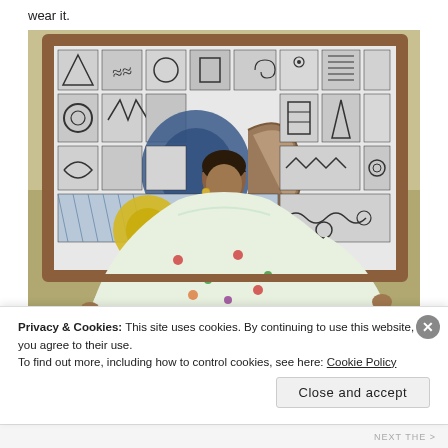wear it.
[Figure (photo): A woman in a floral green dress with wide sleeves stands with arms outstretched in front of a large framed artwork featuring black and white geometric and abstract African-inspired patterns on the wall behind her.]
Privacy & Cookies: This site uses cookies. By continuing to use this website, you agree to their use.
To find out more, including how to control cookies, see here: Cookie Policy
Close and accept